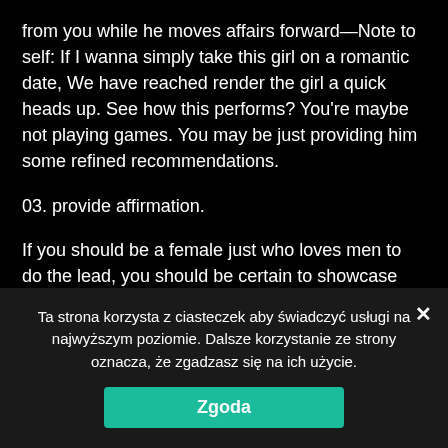from you while he moves affairs forward—Note to self: If I wanna simply take this girl on a romantic date, We have reached render the girl a quick heads up. See how this performs? You're maybe not playing games. You may be just providing him some refined recommendations.
03. provide affirmation.
If you should be a female just who loves men to do the lead, you should be certain to showcase gratitude once you finally fulfill men would you. When one asks you on a romantic date, simply tell him
Ta strona korzysta z ciasteczek aby świadczyć usługi na najwyższym poziomie. Dalsze korzystanie ze strony oznacza, że zgadzasz się na ich użycie.